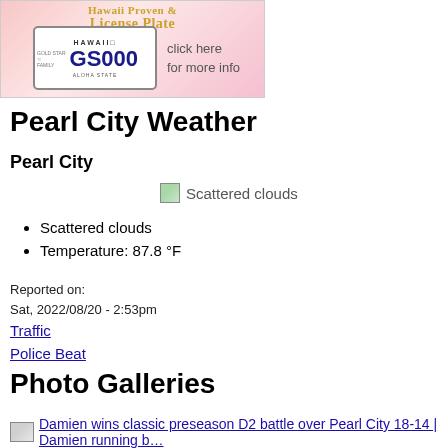[Figure (illustration): Hawaii Gold Star Family License Plate advertisement banner with a Hawaii license plate showing GS000 and text 'click here for more info']
Pearl City Weather
Pearl City
[Figure (illustration): Scattered clouds weather icon image]
Scattered clouds
Temperature: 87.8 °F
Reported on:
Sat, 2022/08/20 - 2:53pm
Traffic
Police Beat
Photo Galleries
[Figure (photo): Damien wins classic preseason D2 battle over Pearl City 18-14 - Damien running back photo]